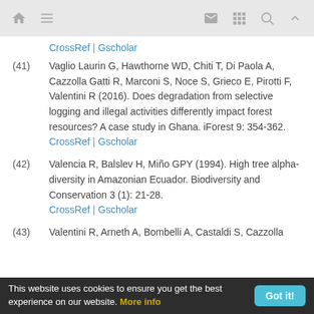Navigation header with home, menu, mail, grid, search, and up icons
CrossRef | Gscholar
(41) Vaglio Laurin G, Hawthorne WD, Chiti T, Di Paola A, Cazzolla Gatti R, Marconi S, Noce S, Grieco E, Pirotti F, Valentini R (2016). Does degradation from selective logging and illegal activities differently impact forest resources? A case study in Ghana. iForest 9: 354-362. CrossRef | Gscholar
(42) Valencia R, Balslev H, Miño GPY (1994). High tree alpha-diversity in Amazonian Ecuador. Biodiversity and Conservation 3 (1): 21-28. CrossRef | Gscholar
(43) Valentini R, Arneth A, Bombelli A, Castaldi S, Cazzolla
This website uses cookies to ensure you get the best experience on our website. More info  Got it!